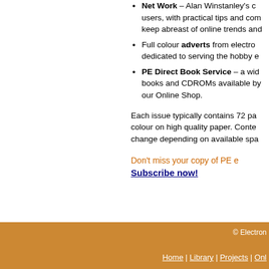Net Work – Alan Winstanley's column for internet users, with practical tips and comment to help you keep abreast of online trends and...
Full colour adverts from electronics companies dedicated to serving the hobby e...
PE Direct Book Service – a wide selection of books and CDROMs available by... our Online Shop.
Each issue typically contains 72 pages, printed in colour on high quality paper. Contents may change depending on available spa...
Don't miss your copy of PE e... Subscribe now!
© Electron... Home | Library | Projects | Onl...